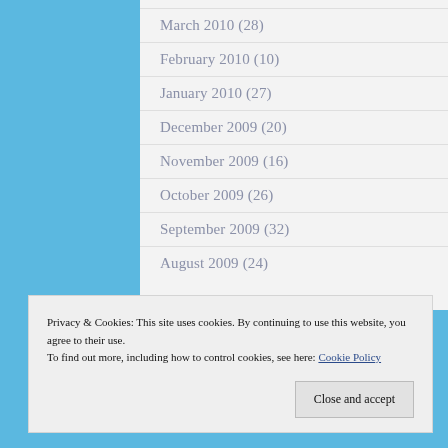March 2010 (28)
February 2010 (10)
January 2010 (27)
December 2009 (20)
November 2009 (16)
October 2009 (26)
September 2009 (32)
August 2009 (24)
Privacy & Cookies: This site uses cookies. By continuing to use this website, you agree to their use.
To find out more, including how to control cookies, see here: Cookie Policy
Close and accept